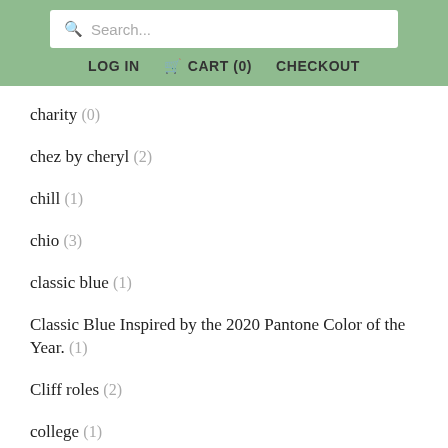Search... LOG IN CART (0) CHECKOUT
charity (0)
chez by cheryl (2)
chill (1)
chio (3)
classic blue (1)
Classic Blue Inspired by the 2020 Pantone Color of the Year. (1)
Cliff roles (2)
college (1)
collin mcloughlin (1)
comfi shoe (0)